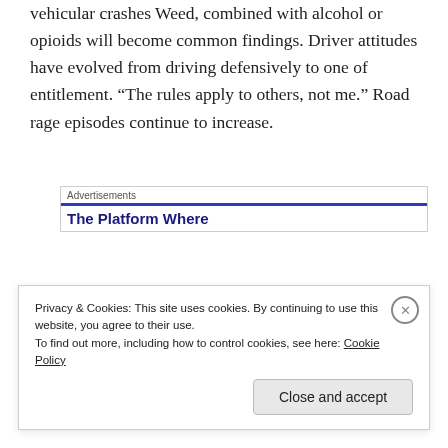vehicular crashes Weed, combined with alcohol or opioids will become common findings. Driver attitudes have evolved from driving defensively to one of entitlement. “The rules apply to others, not me.” Road rage episodes continue to increase.
Advertisements
The Platform Where
We need a renaissance, major changes regarding driver attitudes and values. This applies to all driver age groups. Driver Education has been outsourced by most
Privacy & Cookies: This site uses cookies. By continuing to use this website, you agree to their use.
To find out more, including how to control cookies, see here: Cookie Policy
Close and accept